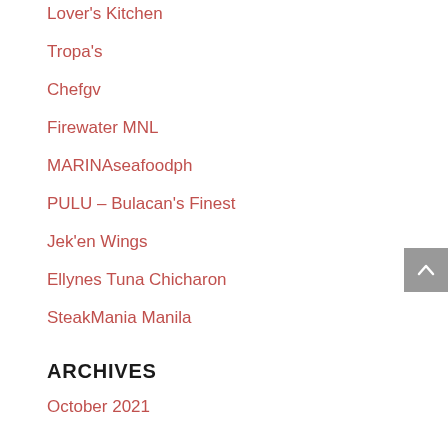Lover's Kitchen
Tropa's
Chefgv
Firewater MNL
MARINAseafoodph
PULU – Bulacan's Finest
Jek'en Wings
Ellynes Tuna Chicharon
SteakMania Manila
ARCHIVES
October 2021